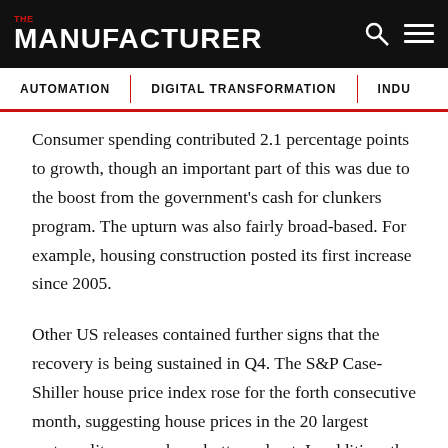THE MANUFACTURER
AUTOMATION | DIGITAL TRANSFORMATION | INDU
Consumer spending contributed 2.1 percentage points to growth, though an important part of this was due to the boost from the government's cash for clunkers program. The upturn was also fairly broad-based. For example, housing construction posted its first increase since 2005.
Other US releases contained further signs that the recovery is being sustained in Q4. The S&P Case-Shiller house price index rose for the forth consecutive month, suggesting house prices in the 20 largest metropolitan areas have bottomed out. In addition, the Chicago survey of activity in the Midwest made its first trip into expansion territory for thirteen months in October